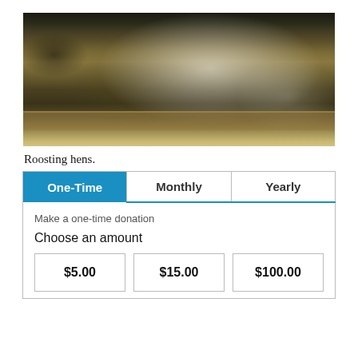[Figure (photo): Roosting hens perched on a wooden bar inside a chicken coop. Several barred rock / speckled hens visible, along with a white hen on the right. Bright light source in upper right.]
Roosting hens.
| One-Time | Monthly | Yearly |
| --- | --- | --- |
| Make a one-time donation

Choose an amount

$5.00 | $15.00 | $100.00 |